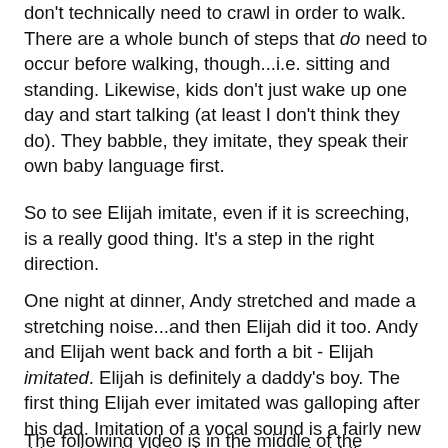don't technically need to crawl in order to walk.  There are a whole bunch of steps that do need to occur before walking, though...i.e. sitting and standing.  Likewise, kids don't just wake up one day and start talking (at least I don't think they do).  They babble, they imitate, they speak their own baby language first.
So to see Elijah imitate, even if it is screeching, is a really good thing.  It's a step in the right direction.
One night at dinner, Andy stretched and made a stretching noise...and then Elijah did it too.  Andy and Elijah went back and forth a bit - Elijah imitated.  Elijah is definitely a daddy's boy.  The first thing Elijah ever imitated was galloping after his dad.  Imitation of a vocal sound is a fairly new thing, though.  We're hearing more babbling out of the guy too.  He's realizing that his voice has power.  And it's getting noisy around here.  Which is definitely a good thing!  It reinstills hope in me that we will indeed be able to get some speech out of this kid.  I hope, I hope!
The following video is in the middle of the father/son stretching session (enter Frisco...).